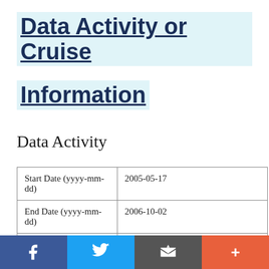Data Activity or Cruise Information
Data Activity
| Start Date (yyyy-mm-dd) | 2005-05-17 |
| End Date (yyyy-mm-dd) | 2006-10-02 |
| Organization Undertaking Activity | Rosenstiel School of Marine and Atmospheric Science |